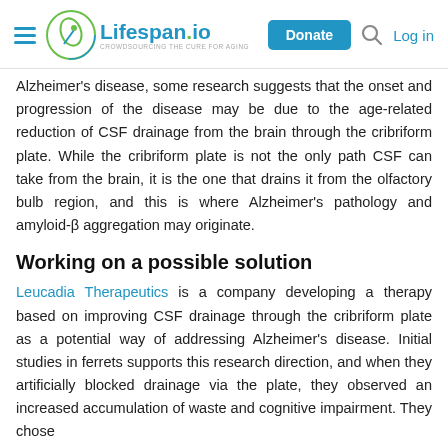Lifespan.io | Donate | Log in
Alzheimer's disease, some research suggests that the onset and progression of the disease may be due to the age-related reduction of CSF drainage from the brain through the cribriform plate. While the cribriform plate is not the only path CSF can take from the brain, it is the one that drains it from the olfactory bulb region, and this is where Alzheimer's pathology and amyloid-β aggregation may originate.
Working on a possible solution
Leucadia Therapeutics is a company developing a therapy based on improving CSF drainage through the cribriform plate as a potential way of addressing Alzheimer's disease. Initial studies in ferrets supports this research direction, and when they artificially blocked drainage via the plate, they observed an increased accumulation of waste and cognitive impairment. They chose